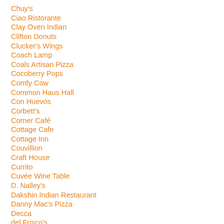Chuy's
Ciao Ristorante
Clay Oven Indian
Clifton Donuts
Clucker's Wings
Coach Lamp
Coals Artisan Pizza
Cocoberry Pops
Comfy Cow
Common Haus Hall
Con Huevos
Corbett's
Corner Café
Cottage Cafe
Cottage Inn
Couvillion
Craft House
Currito
Cuvée Wine Table
D. Nalley's
Dakshin Indian Restaurant
Danny Mac's Pizza
Decca
del Frisco's
Delicias de Mexico